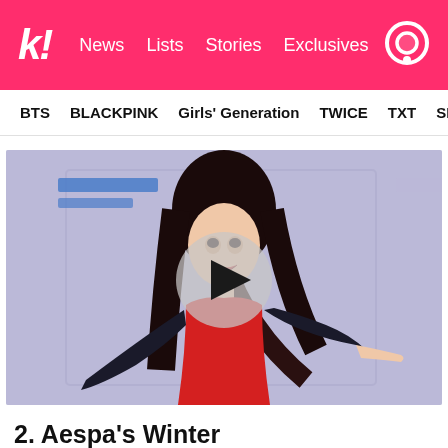k! News Lists Stories Exclusives
BTS BLACKPINK Girls' Generation TWICE TXT SEVE
[Figure (photo): A female K-pop performer in a red dress and black gloves dancing on stage with a purple/lavender backdrop. A video play button overlay appears in the center of the image.]
2. Aespa's Winter